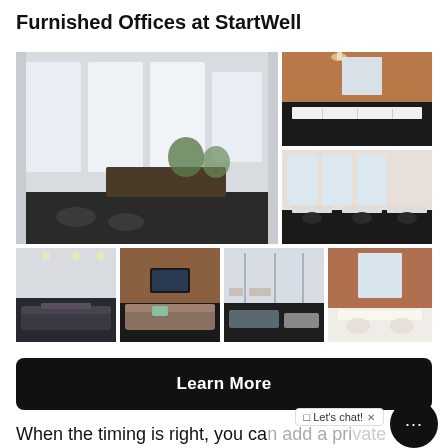Furnished Offices at StartWell
[Figure (photo): Collage of 7 office photos showing coworking spaces, open-plan desks, lounges, and meeting areas at StartWell]
Learn More
When the timing is right, you can add a private